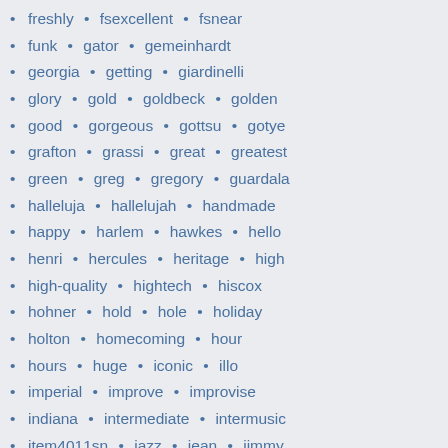freshly • fsexcellent • fsnear
funk • gator • gemeinhardt
georgia • getting • giardinelli
glory • gold • goldbeck • golden
good • gorgeous • gottsu • gotye
grafton • grassi • great • greatest
green • greg • gregory • guardala
halleluja • hallelujah • handmade
happy • harlem • hawkes • hello
henri • hercules • heritage • high
high-quality • hightech • hiscox
hohner • hold • hole • holiday
holton • homecoming • hour
hours • huge • iconic • illo
imperial • improve • improvise
indiana • intermediate • intermusic
item4011sn • jazz • jean • jimmy
jody • john • johnny • julius